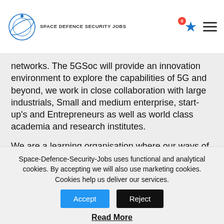SPACE DEFENCE SECURITY JOBS
networks. The 5GSoc will provide an innovation environment to explore the capabilities of 5G and beyond, we work in close collaboration with large industrials, Small and medium enterprise, start-up's and Entrepreneurs as well as world class academia and research institutes.
We are a learning organisation where our ways of working are underpinned by coaching and feedback. Innovation is at the heart of everything that we do, therefore being
Space-Defence-Security-Jobs uses functional and analytical cookies. By accepting we will also use marketing cookies. Cookies help us deliver our services.
Accept
Reject
Read More